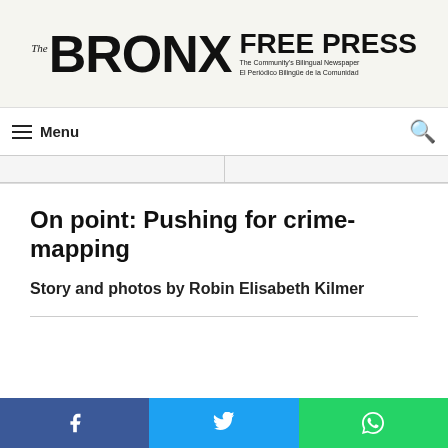The BRONX FREE PRESS — The Community's Bilingual Newspaper / El Periódico Bilingüe de la Comunidad
Menu
On point: Pushing for crime-mapping
Story and photos by Robin Elisabeth Kilmer